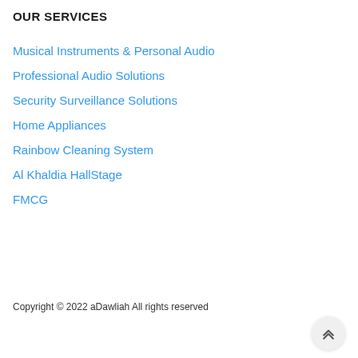OUR SERVICES
Musical Instruments & Personal Audio
Professional Audio Solutions
Security Surveillance Solutions
Home Appliances
Rainbow Cleaning System
Al Khaldia HallStage
FMCG
Copyright © 2022 aDawliah All rights reserved